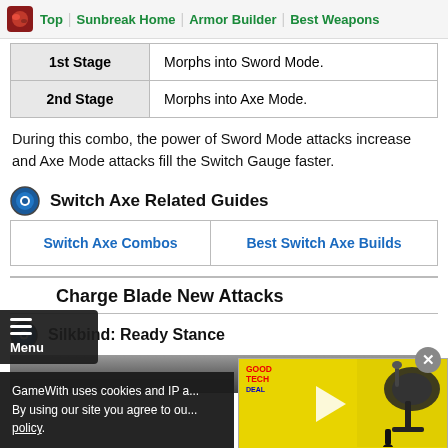Top | Sunbreak Home | Armor Builder | Best Weapons
| Stage | Description |
| --- | --- |
| 1st Stage | Morphs into Sword Mode. |
| 2nd Stage | Morphs into Axe Mode. |
During this combo, the power of Sword Mode attacks increase and Axe Mode attacks fill the Switch Gauge faster.
Switch Axe Related Guides
| Switch Axe Combos | Best Switch Axe Builds |
| --- | --- |
Charge Blade New Attacks
Silkbind: Ready Stance
GameWith uses cookies and IP a... By using our site you agree to ou... policy.